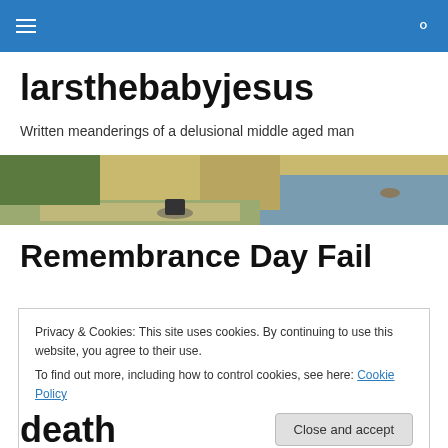larsthebabyjesus — navigation bar with hamburger menu and search icon
larsthebabyjesus
Written meanderings of a delusional middle aged man
[Figure (photo): A motorcyclist riding along a coastal road with cliffs and sea in the background, yellowish tones.]
Remembrance Day Fail
Privacy & Cookies: This site uses cookies. By continuing to use this website, you agree to their use.
To find out more, including how to control cookies, see here: Cookie Policy
Close and accept
death